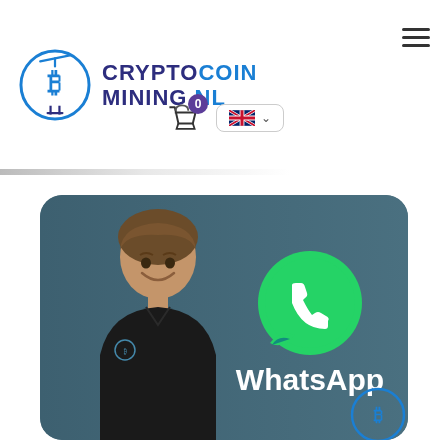[Figure (logo): CryptoCoin Mining NL logo with circular bitcoin icon and text CRYPTOCOIN MINING.NL in dark blue/purple]
[Figure (illustration): Hamburger menu icon (three horizontal lines) in top right corner]
[Figure (illustration): Shopping bag cart icon with badge showing 0, and UK flag language selector button]
[Figure (photo): Partial product image strip at top]
[Figure (illustration): WhatsApp promotional card with teal/dark background showing a smiling man in black polo shirt on left, and WhatsApp logo icon with text 'WhatsApp' on right, plus CryptoCoin Mining NL logo in bottom right corner]